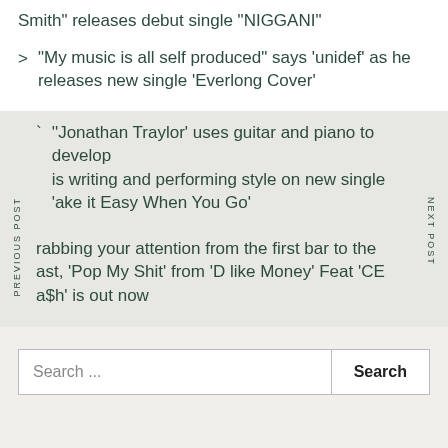Smith” releases debut single “NIGGANI”
“My music is all self produced” says ‘unidef’ as he releases new single ‘Everlong Cover’
‘’Jonathan Traylor’ uses guitar and piano to develop his writing and performing style on new single ‘Take it Easy When You Go’
rabbing your attention from the first bar to the last, ‘Pop My Shit’ from ‘D like Money’ Feat ‘CE a$h’ is out now
Search ...
Search